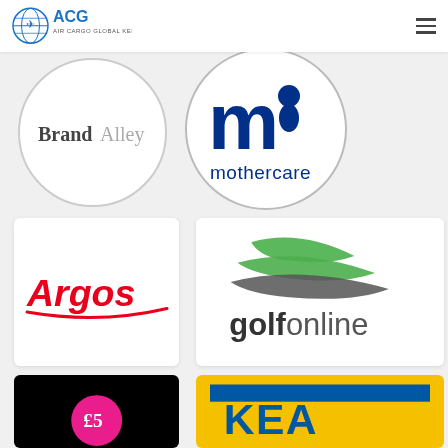[Figure (logo): ACG Air Cargo Global Kenya logo — blue text and globe/plane icon]
[Figure (logo): BrandAlley logo in a circle — bold Brand, light Alley]
[Figure (logo): Mothercare logo in a circle — navy m with figure, mothercare text]
[Figure (logo): Argos logo in white rectangle — red italic Argos text with swoosh]
[Figure (logo): Golf Online logo in white rectangle — green and dark wave swoosh, golfonline text]
[Figure (logo): Black rectangle partially visible with pink £5 circle badge]
[Figure (logo): IKEA style yellow and blue logo partially visible]